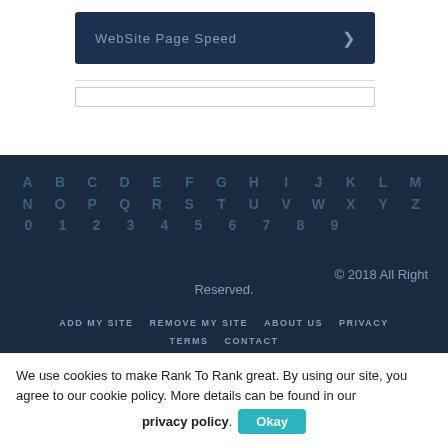WebSite Page Speed >
[Figure (screenshot): Thin search/input bar]
A B C D E F G H I J K L M N O P Q R S T U V W X Y Z 0 1 2 3 4 5 6 7 8 9
© 2018 All Right Reserved.
ADD MY SITE   REMOVE MY SITE   ABOUT US   PRIVACY   TERMS   CONTACT
We use cookies to make Rank To Rank great. By using our site, you agree to our cookie policy. More details can be found in our privacy policy. Okay